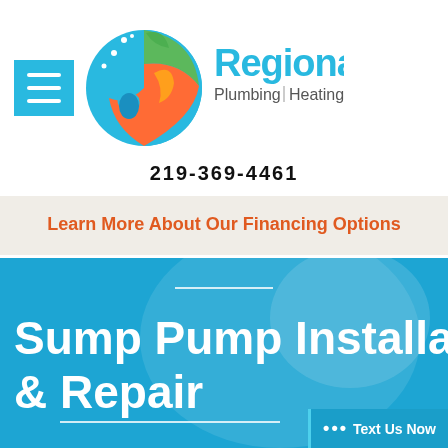[Figure (logo): Regional Plumbing Heating and Air logo with hamburger menu icon and circular yin-yang style logo with flame, leaf, snowflake, and water droplet elements]
219-369-4461
Learn More About Our Financing Options
Sump Pump Installation & Repair
... Text Us Now